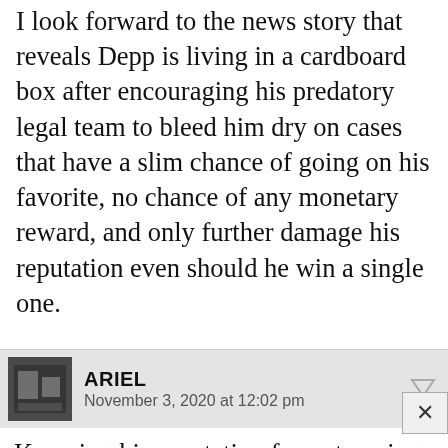I look forward to the news story that reveals Depp is living in a cardboard box after encouraging his predatory legal team to bleed him dry on cases that have a slim chance of going on his favorite, no chance of any monetary reward, and only further damage his reputation even should he win a single one.
ARIEL
November 3, 2020 at 12:02 pm
Knowing his reputation for not paying lawyers and accountants, he has to be paying them monthly, right? I can't imagine they thought their case was so good they would go for a contingency contract? (wherein they only get paid if he wins, they they would have gotten a percentage of the award- also, in the contingency scenario, he is most likely on the hook for all of the attorney's